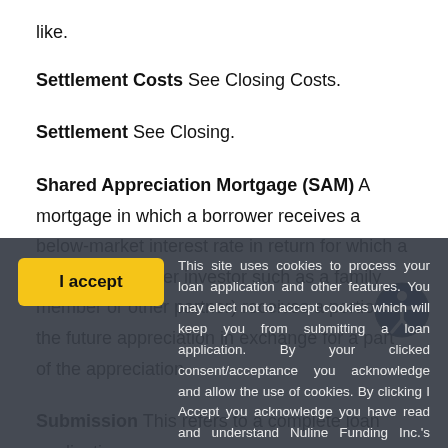like.
Settlement Costs See Closing Costs.
Settlement See Closing.
Shared Appreciation Mortgage (SAM) A mortgage in which a borrower receives a below-market interest rate in return for which a lender (or another investor such as a family member or other partner) receives a portion of the future appreciation in exchange for a part of the appreciation.
Submission This refers to a complete loan application
This site uses cookies to process your loan application and other features. You may elect not to accept cookies which will keep you from submitting a loan application. By your clicked consent/acceptance you acknowledge and allow the use of cookies. By clicking I Accept you acknowledge you have read and understand Nuline Funding Inc.'s Privacy Policy.